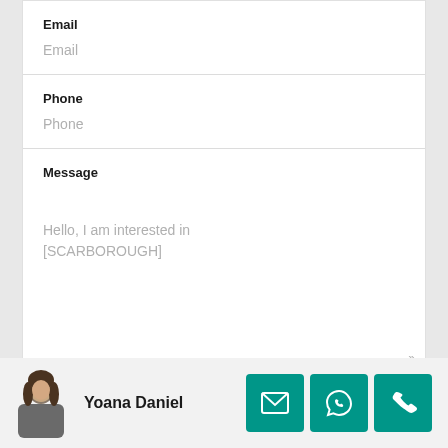Email
Email
Phone
Phone
Message
Hello, I am interested in [SCARBOROUGH]
Yoana Daniel